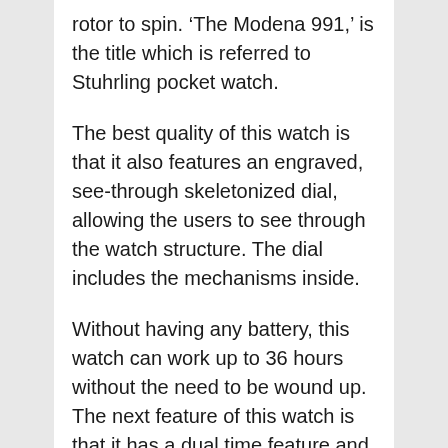rotor to spin. 'The Modena 991,' is the title which is referred to Stuhrling pocket watch.
The best quality of this watch is that it also features an engraved, see-through skeletonized dial, allowing the users to see through the watch structure. The dial includes the mechanisms inside.
Without having any battery, this watch can work up to 36 hours without the need to be wound up. The next feature of this watch is that it has a dual time feature and also allows you to keep time in AM and PM. Having a SUN/MOON dial, this watch